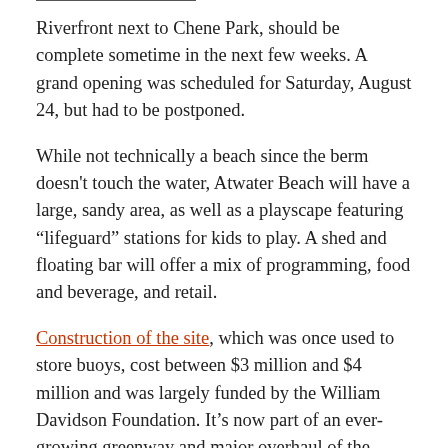Riverfront next to Chene Park, should be complete sometime in the next few weeks. A grand opening was scheduled for Saturday, August 24, but had to be postponed.
While not technically a beach since the berm doesn't touch the water, Atwater Beach will have a large, sandy area, as well as a playscape featuring “lifeguard” stations for kids to play. A shed and floating bar will offer a mix of programming, food and beverage, and retail.
Construction of the site, which was once used to store buoys, cost between $3 million and $4 million and was largely funded by the William Davidson Foundation. It’s now part of an ever-growing greenway and major overhaul of the RiverWalk undertaken by the Detroit